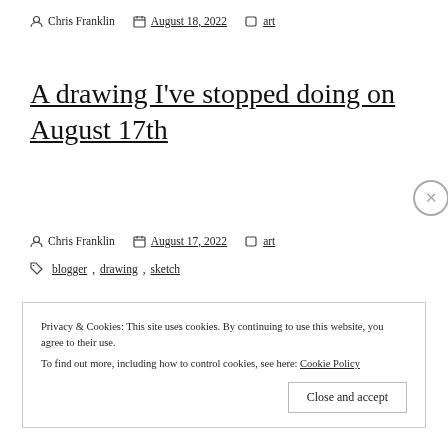Chris Franklin  August 18, 2022  art
A drawing I've stopped doing on August 17th
Chris Franklin  August 17, 2022  art
blogger, drawing, sketch
Privacy & Cookies: This site uses cookies. By continuing to use this website, you agree to their use.
To find out more, including how to control cookies, see here: Cookie Policy
Close and accept